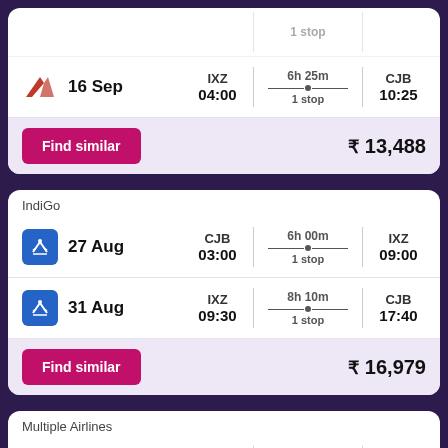[Figure (screenshot): Partial flight card top - Air India 16 Sep IXZ 04:00 to CJB 10:25 6h 25m 1 stop]
16 Sep
IXZ 04:00 | 6h 25m 1 stop | CJB 10:25
Find similar   ₹ 13,488
IndiGo
27 Aug
CJB 03:00 | 6h 00m 1 stop | IXZ 09:00
31 Aug
IXZ 09:30 | 8h 10m 1 stop | CJB 17:40
Find similar   ₹ 16,979
Multiple Airlines
CJB | 16h 15m | IXZ